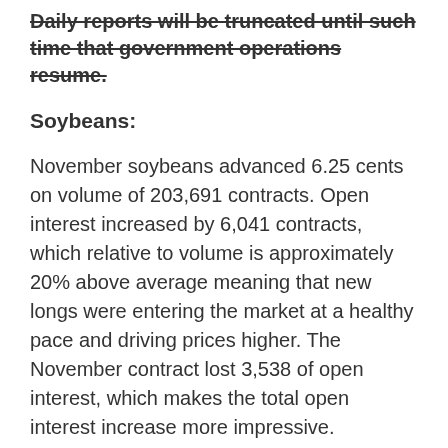Daily reports will be truncated until such time that government operations resume.
Soybeans:
November soybeans advanced 6.25 cents on volume of 203,691 contracts. Open interest increased by 6,041 contracts, which relative to volume is approximately 20% above average meaning that new longs were entering the market at a healthy pace and driving prices higher. The November contract lost 3,538 of open interest, which makes the total open interest increase more impressive. November soybeans made a new low for the move at $12.61 3/4 and as this report is being compiled on October 15, soybeans are trading 1.75 cents lower, but they have not taken out yesterday's low. Though soybeans have